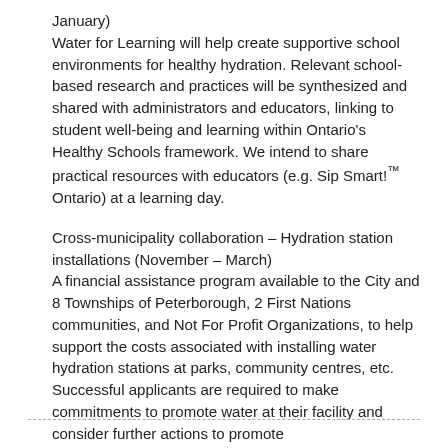January)
Water for Learning will help create supportive school environments for healthy hydration. Relevant school-based research and practices will be synthesized and shared with administrators and educators, linking to student well-being and learning within Ontario's Healthy Schools framework. We intend to share practical resources with educators (e.g. Sip Smart!™ Ontario) at a learning day.
Cross-municipality collaboration – Hydration station installations (November – March)
A financial assistance program available to the City and 8 Townships of Peterborough, 2 First Nations communities, and Not For Profit Organizations, to help support the costs associated with installing water hydration stations at parks, community centres, etc. Successful applicants are required to make commitments to promote water at their facility and consider further actions to promote